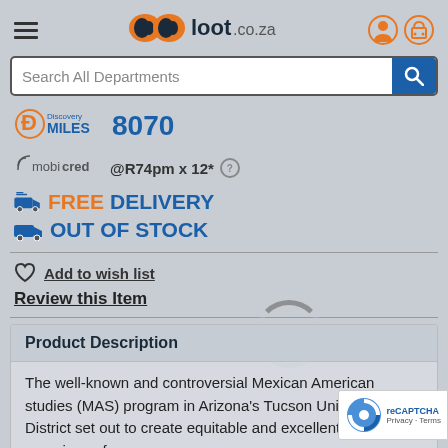[Figure (logo): loot.co.za logo with orange and blue design, hamburger menu icon on left, account and cart icons on right]
[Figure (screenshot): Search All Departments search bar with blue search button]
[Figure (logo): Discovery Miles logo with D icon]
8070
[Figure (logo): mobicred logo]
@R74pm x 12*
FREE DELIVERY
OUT OF STOCK
Add to wish list
Review this Item
Product Description
The well-known and controversial Mexican American studies (MAS) program in Arizona's Tucson Unified School District set out to create equitable and excellent educational experience for